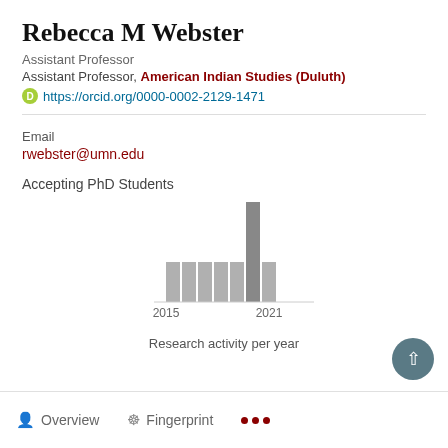Rebecca M Webster
Assistant Professor
Assistant Professor, American Indian Studies (Duluth)
https://orcid.org/0000-0002-2129-1471
Email
rwebster@umn.edu
Accepting PhD Students
[Figure (bar-chart): Research activity per year]
Research activity per year
Overview   Fingerprint   ...